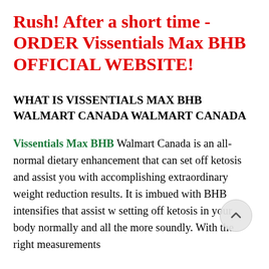Rush! After a short time - ORDER Vissentials Max BHB OFFICIAL WEBSITE!
WHAT IS VISSENTIALS MAX BHB WALMART CANADA WALMART CANADA
Vissentials Max BHB Walmart Canada is an all-normal dietary enhancement that can set off ketosis and assist you with accomplishing extraordinary weight reduction results. It is imbued with BHB intensifies that assist with setting off ketosis in your body normally and all the more soundly. With the right measurements